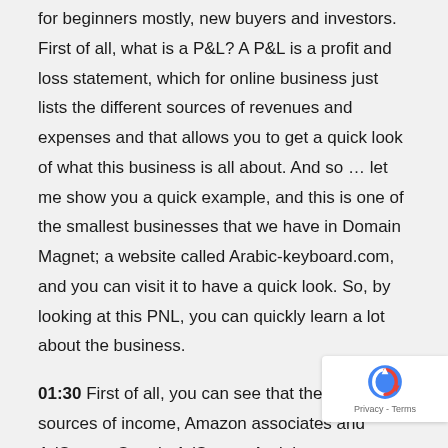for beginners mostly, new buyers and investors. First of all, what is a P&L? A P&L is a profit and loss statement, which for online business just lists the different sources of revenues and expenses and that allows you to get a quick look of what this business is all about. And so … let me show you a quick example, and this is one of the smallest businesses that we have in Domain Magnet; a website called Arabic-keyboard.com, and you can visit it to have a quick look. So, by looking at this PNL, you can quickly learn a lot about the business.
01:30 First of all, you can see that there are two sources of income, Amazon associates and AdSense, Google AdSense. And then you can see that the expenses are the domain registration